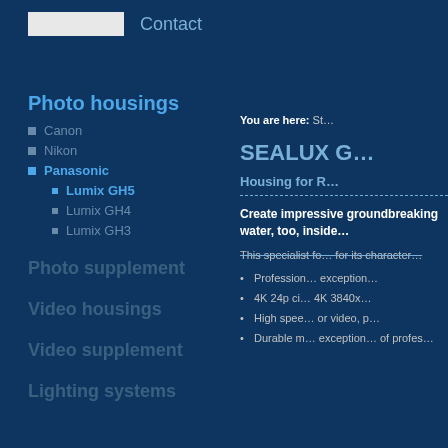Contact
Photo housings
Canon
Nikon
Panasonic
Lumix GH5
Lumix GH4
Lumix GH3
Photo supplement
Video housings
Video supplement
Lighting systems
You are here: St…
SEALUX G…
Housing for R…
Create impressive groundbreaking water, too, inside…
This specialist fo… for its character…
Professional exception…
4K 24p ci… 4K 3840x…
High spee… or video, p…
Durable m… exception… of profes…